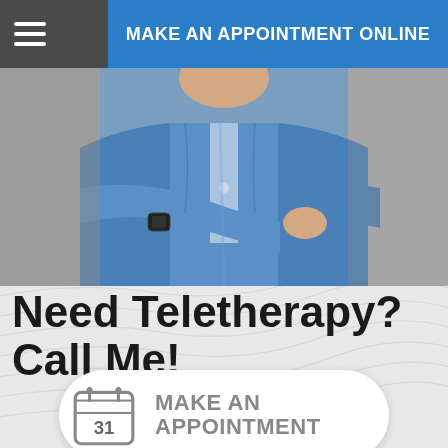MAKE AN APPOINTMENT ONLINE
[Figure (photo): Person in blue shirt/scrubs with arms crossed, torso only visible, with topographic pattern background]
Need Teletherapy?  Call Me!
MAKE AN APPOINTMENT